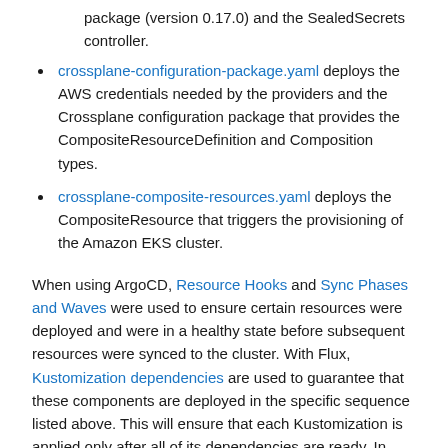package (version 0.17.0) and the SealedSecrets controller.
crossplane-configuration-package.yaml deploys the AWS credentials needed by the providers and the Crossplane configuration package that provides the CompositeResourceDefinition and Composition types.
crossplane-composite-resources.yaml deploys the CompositeResource that triggers the provisioning of the Amazon EKS cluster.
When using ArgoCD, Resource Hooks and Sync Phases and Waves were used to ensure certain resources were deployed and were in a healthy state before subsequent resources were synced to the cluster. With Flux, Kustomization dependencies are used to guarantee that these components are deployed in the specific sequence listed above. This will ensure that each Kustomization is applied only after all of its dependencies are ready. In addition, Kustomization health assessments are used to determine the rollout status of workloads deployed with each Kustomization.
The health check entries support both Kubernetes built-in types such as Deployment and DaemonSet as well as custom resources